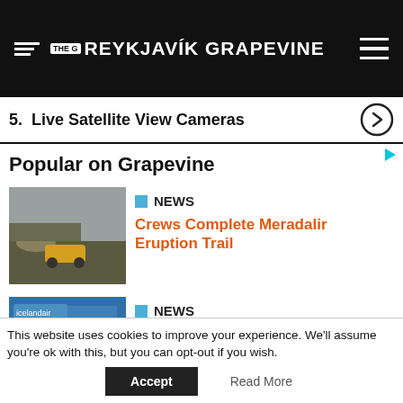THE REYKJAVIK GRAPEVINE
5.  Live Satellite View Cameras
Popular on Grapevine
[Figure (photo): Landscape photo with yellow vehicle on terrain]
NEWS
Crews Complete Meradalir Eruption Trail
[Figure (photo): People at what appears to be an airport or indoor facility]
NEWS
Residents Of Akureyri Order Dinner From Reykjavík
[Figure (photo): People in a grocery store setting]
NEWS
Bónus Will Not Freeze Product Prices
This website uses cookies to improve your experience. We'll assume you're ok with this, but you can opt-out if you wish.
Accept   Read More